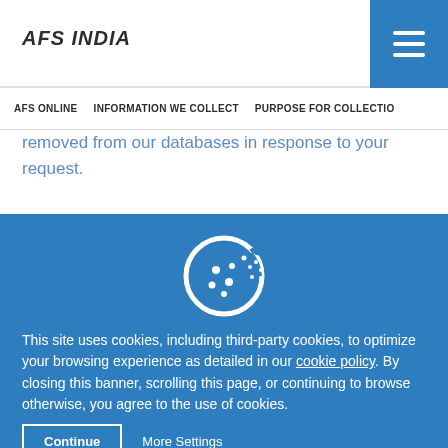AFS INDIA
AFS ONLINE   INFORMATION WE COLLECT   PURPOSE FOR COLLECTIO
removed from our databases in response to your request.
[Figure (illustration): Cookie icon - a white cookie with a bite taken out, on a blue background]
This site uses cookies, including third-party cookies, to optimize your browsing experience as detailed in our cookie policy. By closing this banner, scrolling this page, or continuing to browse otherwise, you agree to the use of cookies.
Continue   More Settings